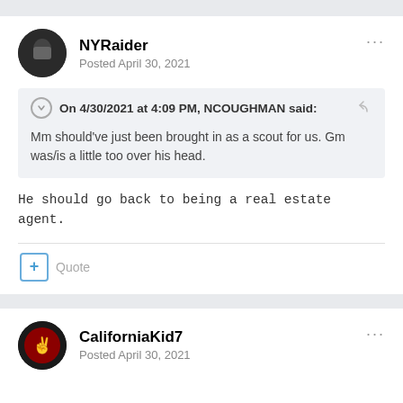NYRaider
Posted April 30, 2021
On 4/30/2021 at 4:09 PM, NCOUGHMAN said:
Mm should've just been brought in as a scout for us. Gm was/is a little too over his head.
He should go back to being a real estate agent.
Quote
CaliforniaKid7
Posted April 30, 2021